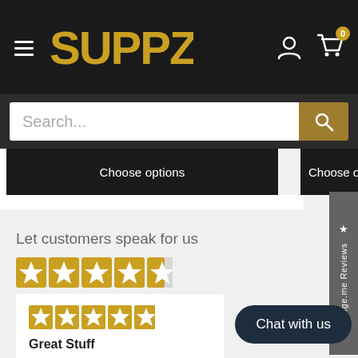SUPPZ
Search...
Choose options
Choose o
★ Judge.me Reviews
Let customers speak for us
from 5041 reviews
Great Stuff
Chat with us